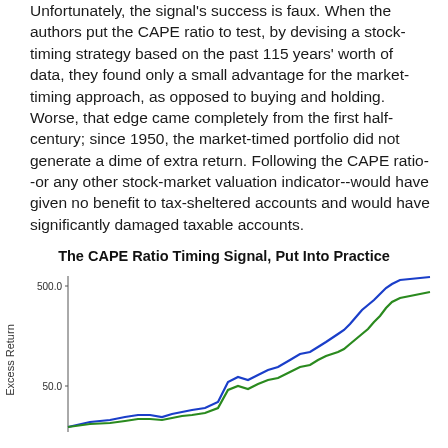Unfortunately, the signal's success is faux. When the authors put the CAPE ratio to test, by devising a stock-timing strategy based on the past 115 years' worth of data, they found only a small advantage for the market-timing approach, as opposed to buying and holding. Worse, that edge came completely from the first half-century; since 1950, the market-timed portfolio did not generate a dime of extra return. Following the CAPE ratio--or any other stock-market valuation indicator--would have given no benefit to tax-sheltered accounts and would have significantly damaged taxable accounts.
The CAPE Ratio Timing Signal, Put Into Practice
[Figure (continuous-plot): Line chart showing 'The CAPE Ratio Timing Signal, Put Into Practice' with y-axis labeled 'Excess Return' on a log scale (50.0 to 500.0), showing two lines (blue and green) that rise from the left and diverge toward the upper right, with the blue line finishing higher than the green line.]